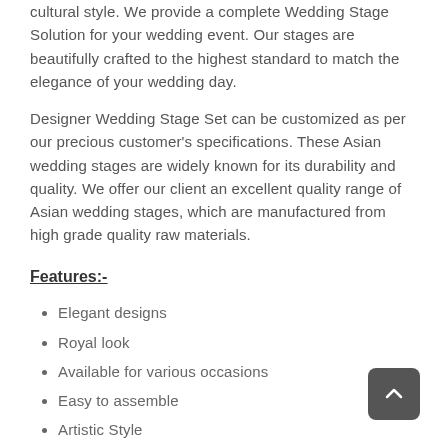cultural style. We provide a complete Wedding Stage Solution for your wedding event. Our stages are beautifully crafted to the highest standard to match the elegance of your wedding day.
Designer Wedding Stage Set can be customized as per our precious customer's specifications. These Asian wedding stages are widely known for its durability and quality. We offer our client an excellent quality range of Asian wedding stages, which are manufactured from high grade quality raw materials.
Features:-
Elegant designs
Royal look
Available for various occasions
Easy to assemble
Artistic Style
Fine Finish
More Information: